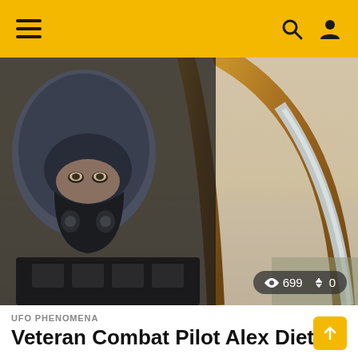Navigation bar with hamburger menu, search icon, and user icon
[Figure (photo): Close-up photo of a military fighter pilot in cockpit, wearing a flight helmet and oxygen mask, viewed from inside the cockpit with canopy frame visible, hazy sky in background]
👁 699  ↑↓ 0
UFO PHENOMENA
Veteran Combat Pilot Alex Dietrich